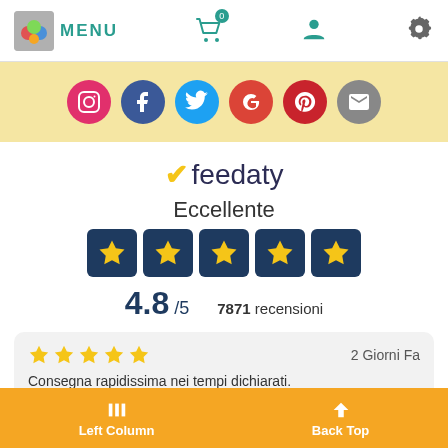MENU
[Figure (screenshot): Social media icon bar with Instagram, Facebook, Twitter, Google+, Pinterest, and Email icons on yellow background]
[Figure (logo): Feedaty logo with golden checkmark and text 'feedaty']
Eccellente
[Figure (other): 5 star rating display: 4.8/5 with 7871 recensioni]
4.8 /5   7871 recensioni
2 Giorni Fa
Consegna rapidissima nei tempi dichiarati.
Left Column   Back Top